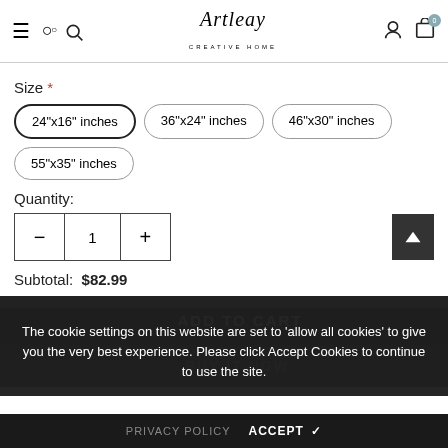Artleay creative work — navigation header with hamburger, search, logo, account, cart (0)
Size *
24"x16" inches (selected)
36"x24" inches
46"x30" inches
55"x35" inches
Quantity:
Subtotal:  $82.99
ADD TO CART
BUY IT NOW
The cookie settings on this website are set to 'allow all cookies' to give you the very best experience. Please click Accept Cookies to continue to use the site.
PRIVACY POLICY   ACCEPT ✓